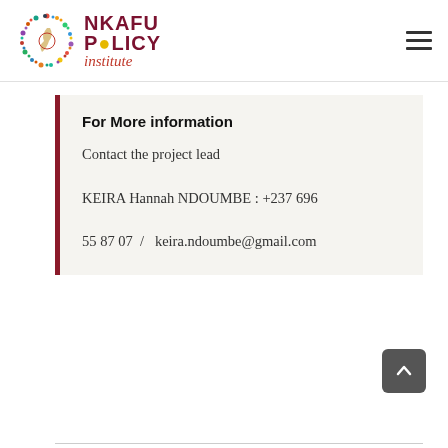[Figure (logo): Nkafu Policy Institute logo with colorful dot circle and dark red text]
For More information
Contact the project lead

KEIRA Hannah NDOUMBE : +237 696 55 87 07  /  keira.ndoumbe@gmail.com